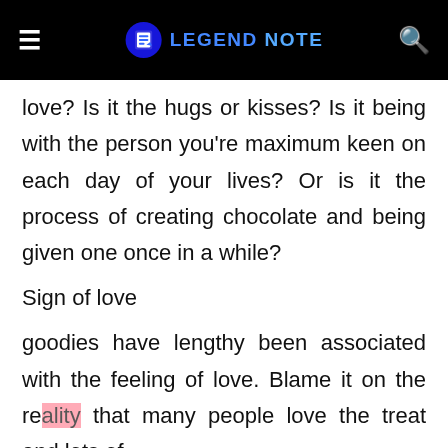LEGEND NOTE
love? Is it the hugs or kisses? Is it being with the person you're maximum keen on each day of your lives? Or is it the process of creating chocolate and being given one once in a while?
Sign of love
goodies have lengthy been associated with the feeling of love. Blame it on the reality that many people love the treat and lots of